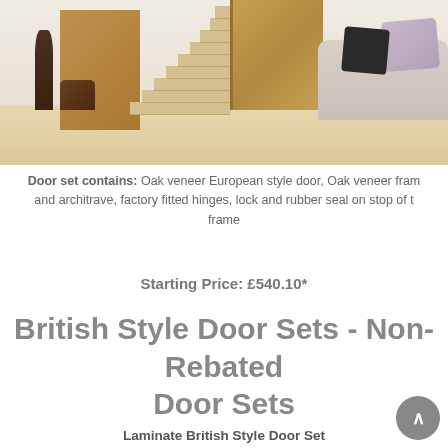[Figure (photo): Interior room scene showing oak veneer doors, staircase, bookcase, sofa with cushions, and wooden flooring]
Door set contains: Oak veneer European style door, Oak veneer frame and architrave, factory fitted hinges, lock and rubber seal on stop of the frame
Starting Price: £540.10*
British Style Door Sets - Non-Rebated Door Sets
Laminate British Style Door Set